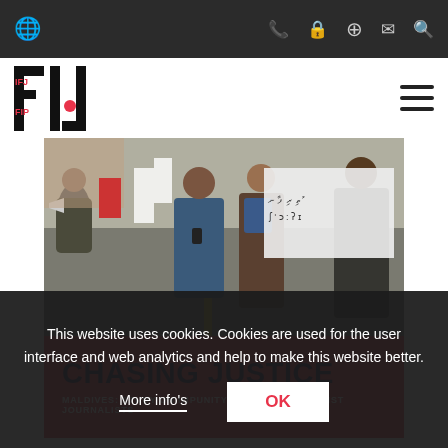IFJ website header navigation bar with globe icon and phone, lock, plus, mail, search icons
[Figure (logo): IFJ / FIP logo - vertical stacked text in red and black]
[Figure (photo): Street protest/march in the Maldives with people wearing white shirts and carrying banners with Dhivehi script]
CHASING JUSTICE
MALDIVES: STUDY ON IMPUNITY FOR CRIMES AGAINST JOURNALISTS
This website uses cookies. Cookies are used for the user interface and web analytics and help to make this website better.
More info's
OK